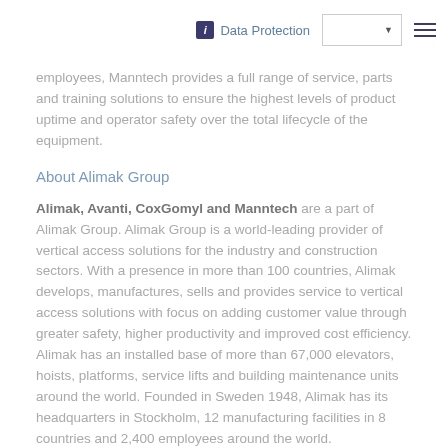i Data Protection
employees, Manntech provides a full range of service, parts and training solutions to ensure the highest levels of product uptime and operator safety over the total lifecycle of the equipment.
About Alimak Group
Alimak, Avanti, CoxGomyl and Manntech are a part of Alimak Group. Alimak Group is a world-leading provider of vertical access solutions for the industry and construction sectors. With a presence in more than 100 countries, Alimak develops, manufactures, sells and provides service to vertical access solutions with focus on adding customer value through greater safety, higher productivity and improved cost efficiency. Alimak has an installed base of more than 67,000 elevators, hoists, platforms, service lifts and building maintenance units around the world. Founded in Sweden 1948, Alimak has its headquarters in Stockholm, 12 manufacturing facilities in 8 countries and 2,400 employees around the world. www.alimakgroup.com